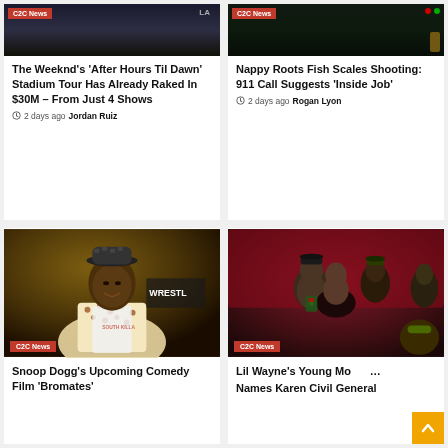[Figure (photo): Partial photo with C2C News badge - The Weeknd article image]
The Weeknd's 'After Hours Til Dawn' Stadium Tour Has Already Raked In $30M – From Just 4 Shows
2 days ago  Jordan Ruiz
[Figure (photo): Partial photo with C2C News badge - Nappy Roots article image]
Nappy Roots Fish Scales Shooting: 911 Call Suggests 'Inside Job'
2 days ago  Rogan Lyon
[Figure (photo): Snoop Dogg at WrestleMania event wearing leopard print jacket and bucket hat, C2C News badge]
Snoop Dogg's Upcoming Comedy Film 'Bromates'
[Figure (photo): Lil Wayne and Young Money members group photo, C2C News badge]
Lil Wayne's Young Money Names Karen Civil General